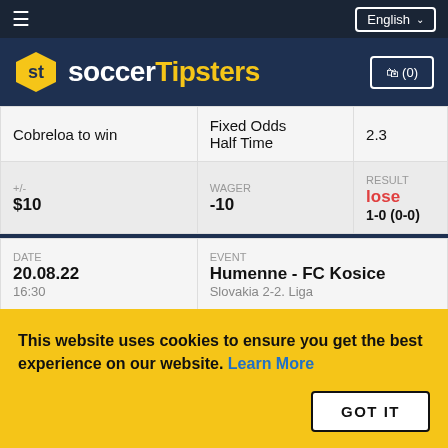Soccer Tipsters — English
| TIP | TYPE | ODDS |
| --- | --- | --- |
| Cobreloa to win | Fixed Odds Half Time | 2.3 |
| +/-
$10 | WAGER
-10 | RESULT
lose
1-0 (0-0) |
| DATE | EVENT |  |
| --- | --- | --- |
| 20.08.22
16:30 | Humenne - FC Kosice
Slovakia 2-2. Liga |  |
| TIP
Humenne +0.25 | TYPE
Asian Handicap Full Time | ODDS
1.9 |
This website uses cookies to ensure you get the best experience on our website. Learn More
GOT IT